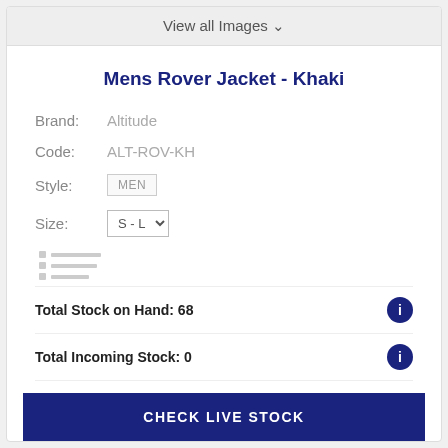View all Images ▾
Mens Rover Jacket - Khaki
Brand: Altitude
Code: ALT-ROV-KH
Style: MEN
Size: S - L
[Figure (other): Placeholder loading icon with three rows of small squares and dashes]
Total Stock on Hand: 68
Total Incoming Stock: 0
CHECK LIVE STOCK